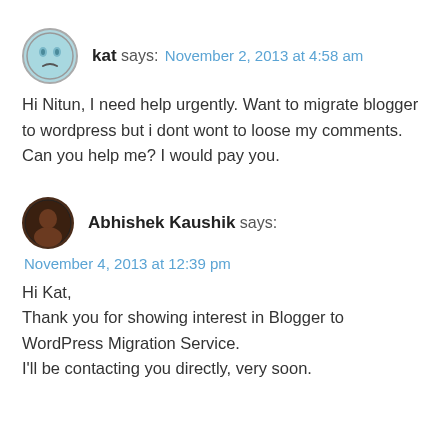kat says: November 2, 2013 at 4:58 am
Hi Nitun, I need help urgently. Want to migrate blogger to wordpress but i dont wont to loose my comments. Can you help me? I would pay you.
Abhishek Kaushik says: November 4, 2013 at 12:39 pm
Hi Kat,
Thank you for showing interest in Blogger to WordPress Migration Service.
I'll be contacting you directly, very soon.